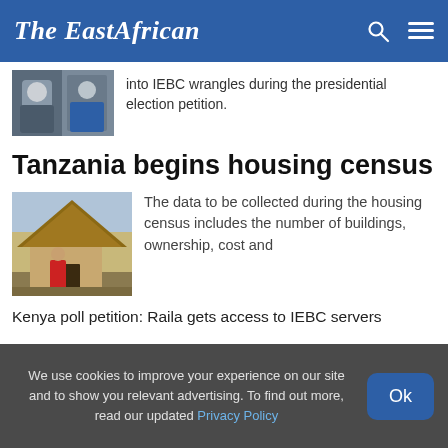The EastAfrican
[Figure (photo): Photo of two people, partial view, from previous article]
into IEBC wrangles during the presidential election petition.
Tanzania begins housing census
[Figure (photo): Photo of a traditional thatched-roof hut with a person in red clothing standing at the entrance]
The data to be collected during the housing census includes the number of buildings, ownership, cost and availability of basic infrastructure.
Kenya poll petition: Raila gets access to IEBC servers
We use cookies to improve your experience on our site and to show you relevant advertising. To find out more, read our updated Privacy Policy